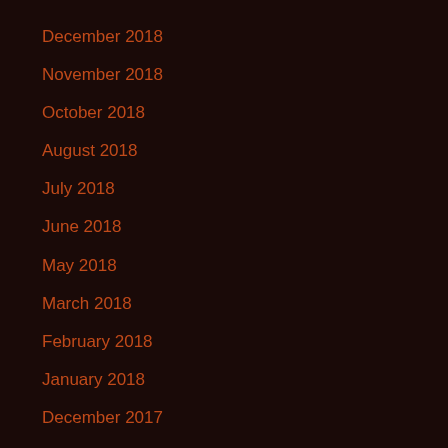December 2018
November 2018
October 2018
August 2018
July 2018
June 2018
May 2018
March 2018
February 2018
January 2018
December 2017
October 2017
September 2017
August 2017